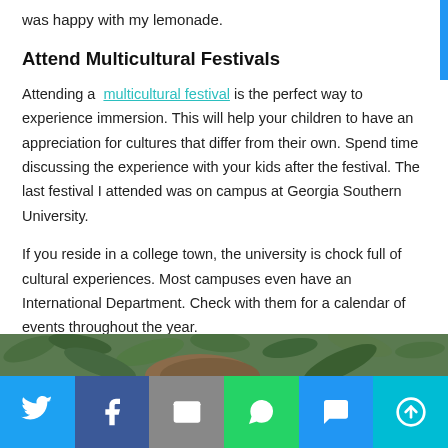was happy with my lemonade.
Attend Multicultural Festivals
Attending a multicultural festival is the perfect way to experience immersion. This will help your children to have an appreciation for cultures that differ from their own. Spend time discussing the experience with your kids after the festival. The last festival I attended was on campus at Georgia Southern University.
If you reside in a college town, the university is chock full of cultural experiences. Most campuses even have an International Department. Check with them for a calendar of events throughout the year.
[Figure (photo): Photo strip showing foliage and a person's hair at the bottom of the page]
[Figure (infographic): Social sharing bar with Twitter, Facebook, Email, WhatsApp, SMS, and More buttons]